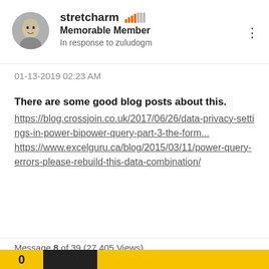[Figure (illustration): Round avatar showing an illustrated face with a bald/white-haired figure on a grey background]
stretcharm
[Figure (infographic): Signal/reputation bars icon: several orange/amber bars increasing in height followed by grey bars]
Memorable Member
In response to zuludogm
01-13-2019 02:23 AM
There are some good blog posts about this.
https://blog.crossjoin.co.uk/2017/06/26/data-privacy-settings-in-power-bipower-query-part-3-the-form...
https://www.excelguru.ca/blog/2015/03/11/power-query-errors-please-rebuild-this-data-combination/
Message 8 of 39 (27,405 Views)